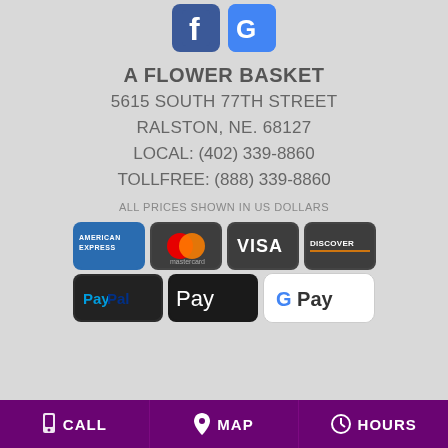[Figure (logo): Facebook and Google social media icons at top]
A FLOWER BASKET
5615 SOUTH 77TH STREET
RALSTON, NE. 68127
LOCAL: (402) 339-8860
TOLLFREE: (888) 339-8860
ALL PRICES SHOWN IN US DOLLARS
[Figure (logo): Payment method icons: American Express, Mastercard, Visa, Discover, PayPal, Apple Pay, Google Pay]
CALL  MAP  HOURS